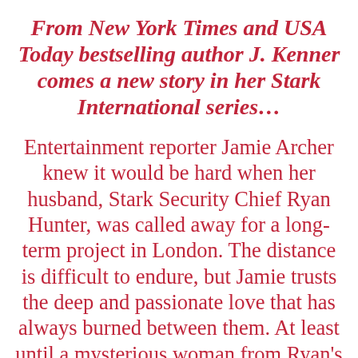From New York Times and USA Today bestselling author J. Kenner comes a new story in her Stark International series…
Entertainment reporter Jamie Archer knew it would be hard when her husband, Stark Security Chief Ryan Hunter, was called away for a long-term project in London. The distance is difficult to endure, but Jamie trusts the deep and passionate love that has always burned between them. At least until a mysterious woman from Ryan's past shows up at his doorstep, her very presence threatening to destroy everything that Jamie holds dear.